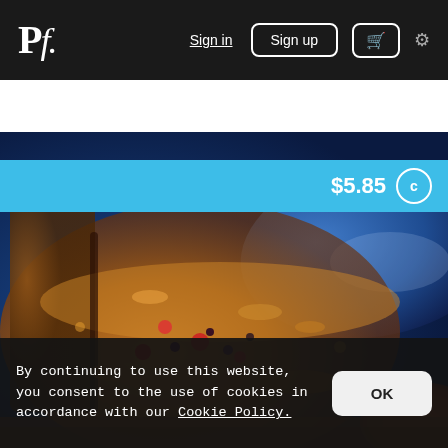Pf. Sign in Sign up 🛒 ⚙
$5.85
[Figure (photo): Close-up photo of granola/crumble bar with berries on a blue background with blurred text]
By continuing to use this website, you consent to the use of cookies in accordance with our Cookie Policy.
OK